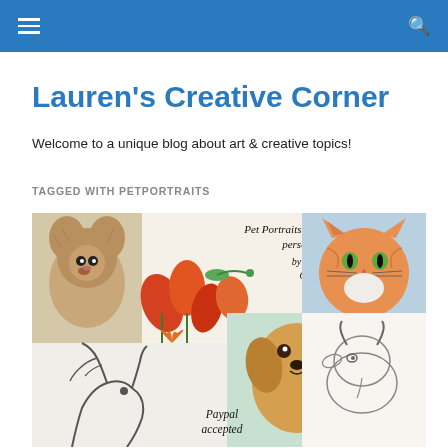Lauren's Creative Corner
Welcome to a unique blog about art & creative topics!
TAGGED WITH PETPORTRAITS
[Figure (illustration): Collage of pet portrait artwork including a Yorkshire Terrier, hummingbird with flowers, orange tabby cat, golden dog, goat sketch, horse sketch, and text 'Pet Portraits make the perfect, personal gift! by Lauren Curtis' and 'Paypal accepted']